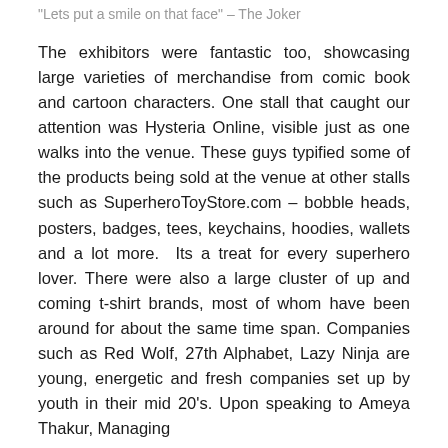“Lets put a smile on that face” – The Joker
The exhibitors were fantastic too, showcasing large varieties of merchandise from comic book and cartoon characters. One stall that caught our attention was Hysteria Online, visible just as one walks into the venue. These guys typified some of the products being sold at the venue at other stalls such as SuperheroToyStore.com – bobble heads, posters, badges, tees, keychains, hoodies, wallets and a lot more.  Its a treat for every superhero lover. There were also a large cluster of up and coming t-shirt brands, most of whom have been around for about the same time span. Companies such as Red Wolf, 27th Alphabet, Lazy Ninja are young, energetic and fresh companies set up by youth in their mid 20’s. Upon speaking to Ameya Thakur, Managing